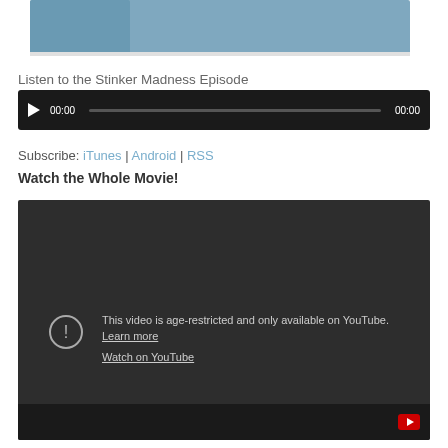[Figure (screenshot): Top portion of a webpage showing a blue/grey banner image at the top]
Listen to the Stinker Madness Episode
[Figure (screenshot): Audio player with play button, timecodes 00:00 and 00:00, dark background]
Subscribe: iTunes | Android | RSS
Watch the Whole Movie!
[Figure (screenshot): Embedded YouTube video player showing age-restriction message: 'This video is age-restricted and only available on YouTube. Learn more' and 'Watch on YouTube' link, with warning icon and dark background]